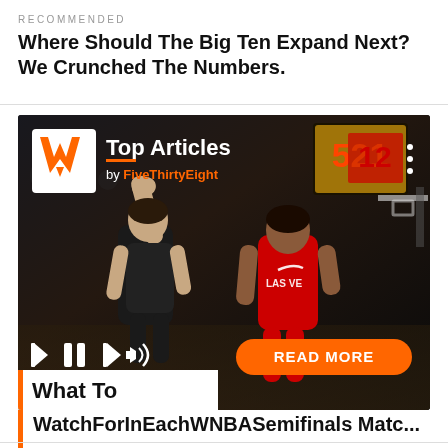RECOMMENDED
Where Should The Big Ten Expand Next? We Crunched The Numbers.
[Figure (screenshot): A media player card showing two WNBA basketball players on a dark court background. The card has a 'Top Articles by FiveThirtyEight' header with a logo, media playback controls (skip back, pause, skip forward, volume), a 'READ MORE' orange button, a 'What To' white label box, and an orange left accent bar.]
WatchForInEachWNBASemifinals Matc...